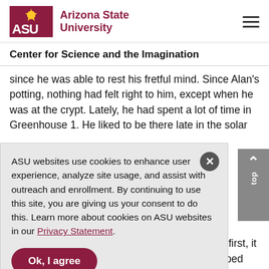[Figure (logo): Arizona State University logo with ASU letters in maroon and university name]
Center for Science and the Imagination
since he was able to rest his fretful mind. Since Alan's potting, nothing had felt right to him, except when he was at the crypt. Lately, he had spent a lot of time in Greenhouse 1. He liked to be there late in the solar
ASU websites use cookies to enhance user experience, analyze site usage, and assist with outreach and enrollment. By continuing to use this site, you are giving us your consent to do this. Learn more about cookies on ASU websites in our Privacy Statement.
fingers. To his surprise, the tendoel reacted. At first, it recoiled and stood erect. Then it relaxed, snapped